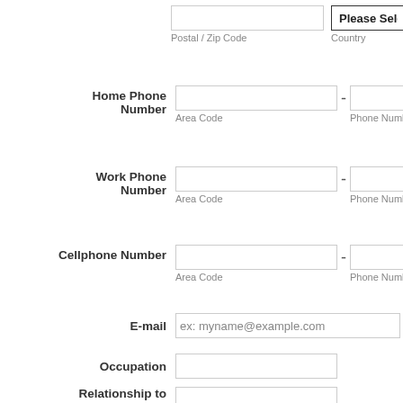Postal / Zip Code
Country
Home Phone Number
Area Code
Phone Number
Work Phone Number
Area Code
Phone Number
Cellphone Number
Area Code
Phone Number
E-mail
ex: myname@example.com
Occupation
Relationship to deceased